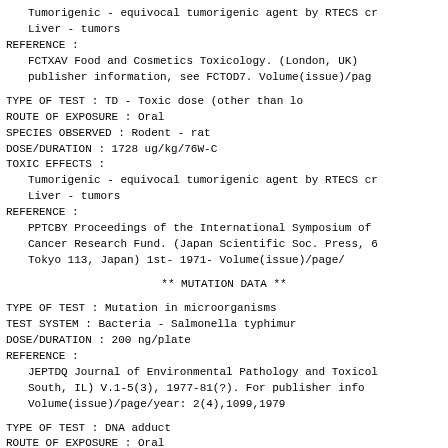Tumorigenic - equivocal tumorigenic agent by RTECS cr
    Liver - tumors
REFERENCE :
FCTXAV Food and Cosmetics Toxicology. (London, UK)
    publisher information, see FCTOD7. Volume(issue)/pag
TYPE OF TEST         : TD - Toxic dose (other than lo
ROUTE OF EXPOSURE    : Oral
SPECIES OBSERVED     : Rodent - rat
DOSE/DURATION        : 1728 ug/kg/76W-C
TOXIC EFFECTS :
Tumorigenic - equivocal tumorigenic agent by RTECS cr
    Liver - tumors
REFERENCE :
PPTCBY Proceedings of the International Symposium of
    Cancer Research Fund. (Japan Scientific Soc. Press, 6
    Tokyo 113, Japan) 1st-    1971-  Volume(issue)/page/
** MUTATION DATA **
TYPE OF TEST         : Mutation in microorganisms
TEST SYSTEM          : Bacteria - Salmonella typhimur
DOSE/DURATION        : 200 ng/plate
REFERENCE :
JEPTDQ Journal of Environmental Pathology and Toxicol
    South, IL) V.1-5(3), 1977-81(?). For publisher info
    Volume(issue)/page/year: 2(4),1099,1979
TYPE OF TEST         : DNA adduct
ROUTE OF EXPOSURE    : Oral
TEST SYSTEM          : Rodent - rat